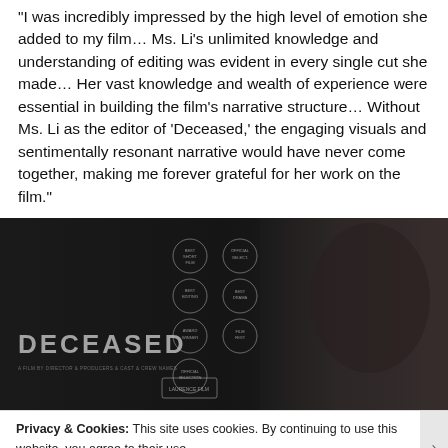"I was incredibly impressed by the high level of emotion she added to my film… Ms. Li's unlimited knowledge and understanding of editing was evident in every single cut she made… Her vast knowledge and wealth of experience were essential in building the film's narrative structure… Without Ms. Li as the editor of 'Deceased,' the engaging visuals and sentimentally resonant narrative would have never come together, making me forever grateful for her work on the film."
[Figure (photo): Dark film poster for 'DECEASED' showing the title in large letters on the left, festival laurel awards in the center, and a partial face silhouette on the right, all on a very dark background.]
Privacy & Cookies: This site uses cookies. By continuing to use this website, you agree to their use. To find out more, including how to control cookies, see here: Cookie Policy
Close and accept